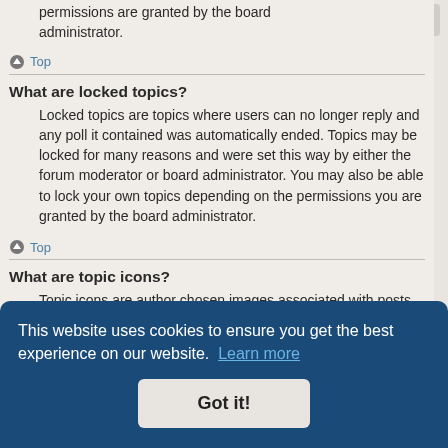permissions are granted by the board administrator.
Top
What are locked topics?
Locked topics are topics where users can no longer reply and any poll it contained was automatically ended. Topics may be locked for many reasons and were set this way by either the forum moderator or board administrator. You may also be able to lock your own topics depending on the permissions you are granted by the board administrator.
Top
What are topic icons?
Topic icons are author chosen images associated with posts to indicate their content. The ability to use topic icons depends on the permissions set by the board administrator.
...level of ...ol all banning users, creating usergroups or moderators, etc.,
This website uses cookies to ensure you get the best experience on our website.  Learn more
Got it!